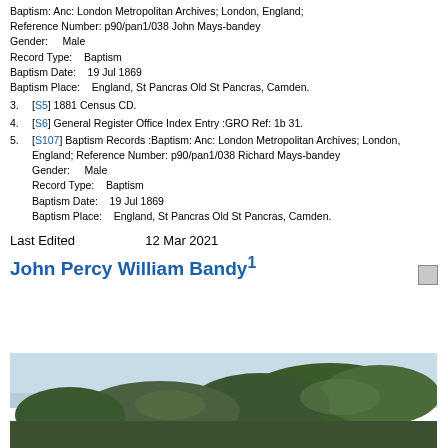Baptism: Anc: London Metropolitan Archives; London, England; Reference Number: p90/pan1/038 John Mays-bandey
Gender:     Male
Record Type:    Baptism
Baptism Date:    19 Jul 1869
Baptism Place:    England, St Pancras Old St Pancras, Camden.
3. [S5] 1881 Census CD.
4. [S6] General Register Office Index Entry :GRO Ref: 1b 31.
5. [S107] Baptism Records :Baptism: Anc: London Metropolitan Archives; London, England; Reference Number: p90/pan1/038 Richard Mays-bandey
Gender:     Male
Record Type:    Baptism
Baptism Date:    19 Jul 1869
Baptism Place:    England, St Pancras Old St Pancras, Camden.
Last Edited          12 Mar 2021
John Percy William Bandy¹
[Figure (photo): Outdoor photo showing trees against a light sky, bottom portion of page]